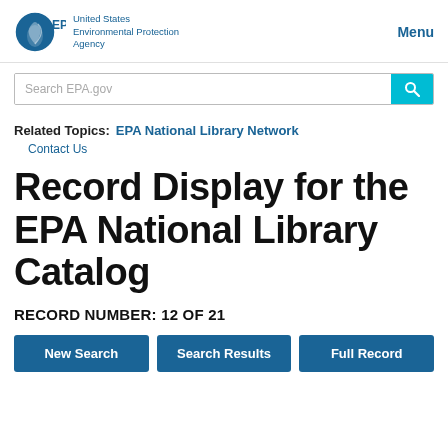EPA | United States Environmental Protection Agency | Menu
[Figure (logo): EPA logo with circular emblem and text 'United States Environmental Protection Agency']
Search EPA.gov
Related Topics: EPA National Library Network
Contact Us
Record Display for the EPA National Library Catalog
RECORD NUMBER: 12 OF 21
New Search | Search Results | Full Record